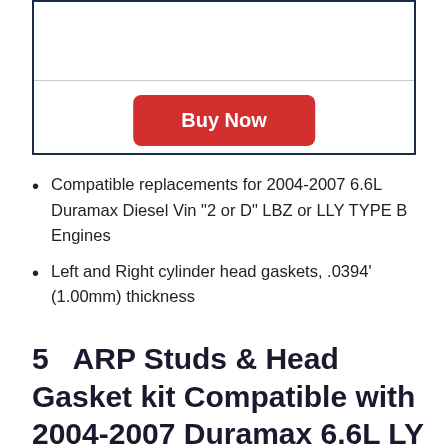[Figure (other): A bordered box section with a horizontal divider line and a red 'Buy Now' button centered in the lower portion]
Compatible replacements for 2004-2007 6.6L Duramax Diesel Vin "2 or D" LBZ or LLY TYPE B Engines
Left and Right cylinder head gaskets, .0394' (1.00mm) thickness
5   ARP Studs & Head Gasket kit Compatible with 2004-2007 Duramax 6.6L LY LBZ...